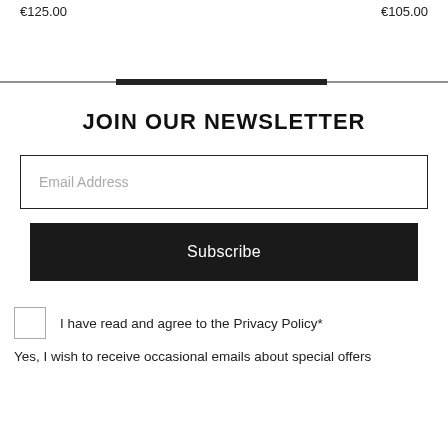€125.00   €105.00
JOIN OUR NEWSLETTER
Email Address
Subscribe
I have read and agree to the Privacy Policy*
Yes, I wish to receive occasional emails about special offers